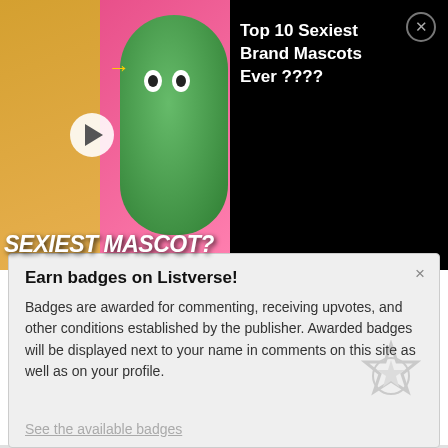[Figure (screenshot): Video thumbnail showing two people reacting on yellow/pink background with a green M&M mascot character and text 'SEXIEST MASCOT?' with a play button overlay]
Top 10 Sexiest Brand Mascots Ever ????
[Figure (photo): Thumbnail image of a person looking at a phone in red/dark tones]
10 Dark And Twisted Rock And Roll Tales
Earn badges on Listverse!
Badges are awarded for commenting, receiving upvotes, and other conditions established by the publisher. Awarded badges will be displayed next to your name in comments on this site as well as on your profile.
See the available badges